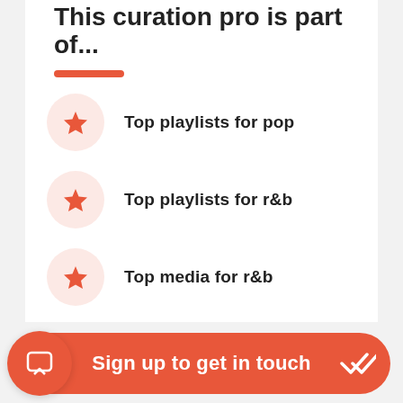This curation pro is part of...
Top playlists for pop
Top playlists for r&b
Top media for r&b
Top playlists for soul
Sign up to get in touch